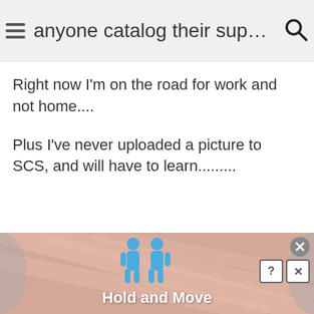anyone catalog their supplies?
Right now I'm on the road for work and not home....
Plus I've never uploaded a picture to SCS, and will have to learn.........
Reply
[Figure (screenshot): Advertisement banner showing two blue cartoon figures with text 'Hold and Move' on a peach/salmon striped background, with close and help/X buttons]